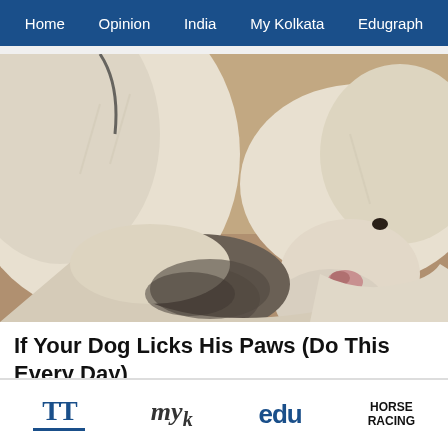Home  Opinion  India  My Kolkata  Edugraph
[Figure (photo): A light-colored dog licking or nuzzling its paw, close-up photo]
If Your Dog Licks His Paws (Do This Every Day)
Ultimate Pet Nutrition | Sponsored
TT  my  edu  HORSE RACING